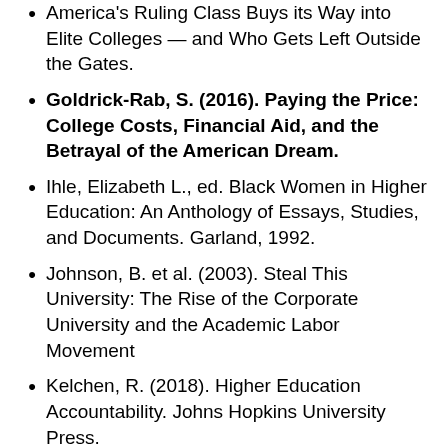Golden, D. (2006). The Price of Admission: How America's Ruling Class Buys its Way into Elite Colleges — and Who Gets Left Outside the Gates.
Goldrick-Rab, S. (2016). Paying the Price: College Costs, Financial Aid, and the Betrayal of the American Dream.
Ihle, Elizabeth L., ed. Black Women in Higher Education: An Anthology of Essays, Studies, and Documents. Garland, 1992.
Johnson, B. et al. (2003). Steal This University: The Rise of the Corporate University and the Academic Labor Movement
Kelchen, R. (2018). Higher Education Accountability. Johns Hopkins University Press.
Kezar, A., DePaola, T, and Scott, D. The Gig Academy: Mapping Labor in the Neoliberal University. Johns Hopkins Press.
Kinser, K. (2006). From Main Street to Wall Street: The Transformation of For-profit Higher